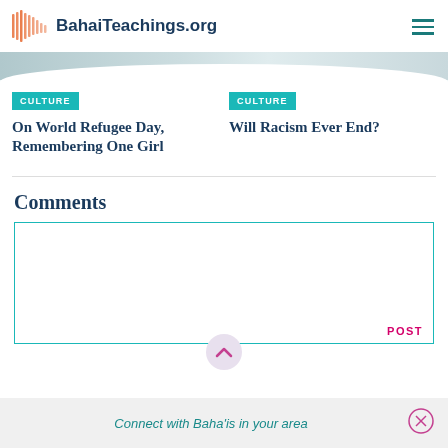BahaiTeachings.org
CULTURE
On World Refugee Day, Remembering One Girl
CULTURE
Will Racism Ever End?
Comments
POST
Connect with Baha'is in your area